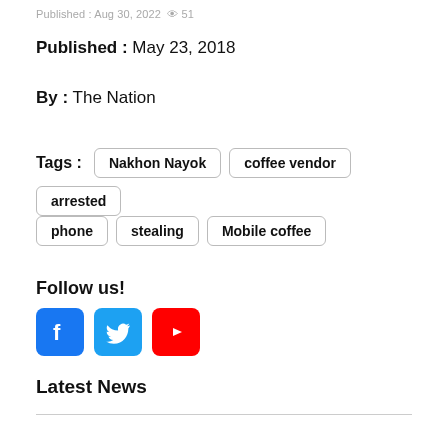Published : Aug 30, 2022  57
Published : May 23, 2018
By : The Nation
Tags : Nakhon Nayok  coffee vendor  arrested  phone  stealing  Mobile coffee
Follow us!
[Figure (logo): Social media icons: Facebook (blue), Twitter (blue), YouTube (red)]
Latest News